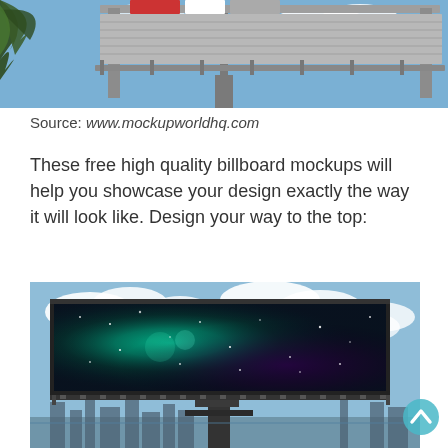[Figure (photo): Top portion of a billboard structure against a blue sky, with palm tree fronds visible on the upper left. The billboard frame/structure is shown from below.]
Source: www.mockupworldhq.com
These free high quality billboard mockups will help you showcase your design exactly the way it will look like. Design your way to the top:
[Figure (photo): A large billboard displaying a dark nebula/galaxy space image with teal and purple hues. The billboard is mounted on a tall pole against a blue sky with clouds, with a city skyline visible in the background.]